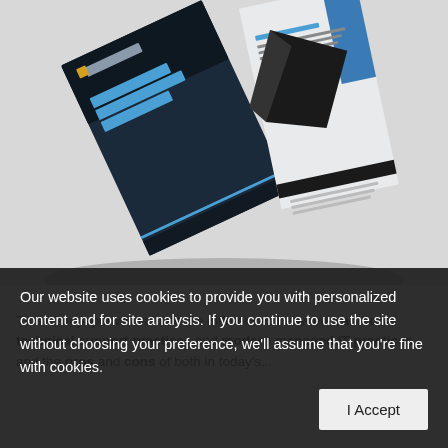[Figure (photo): A tilted/angled brochure or pamphlet showing the cover '20 BENEFITS OF MANAGED IT SERVICES' with the DEVINION logo, displayed against a light gray background. The brochure appears to be fanning open showing multiple pages.]
This whitepaper will valuate the differences between traditional technical support practices and modern managed IT practices and the pros and cons of both in today's...
Our website uses cookies to provide you with personalized content and for site analysis. If you continue to use the site without choosing your preference, we'll assume that you're fine with cookies.